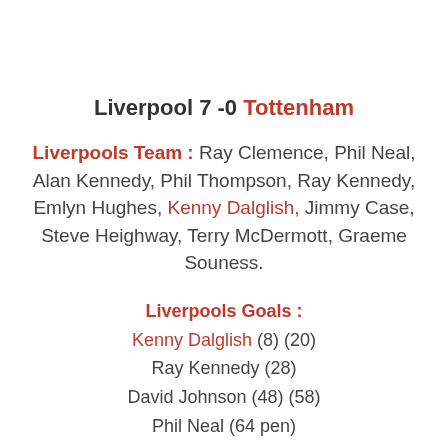Liverpool 7 -0 Tottenham
Liverpools Team : Ray Clemence, Phil Neal, Alan Kennedy, Phil Thompson, Ray Kennedy, Emlyn Hughes, Kenny Dalglish, Jimmy Case, Steve Heighway, Terry McDermott, Graeme Souness.
Liverpools Goals : Kenny Dalglish (8) (20) Ray Kennedy (28) David Johnson (48) (58) Phil Neal (64 pen)